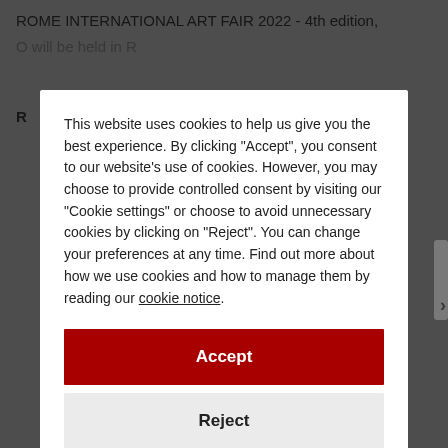ROME INTERNATIONAL ART FAIR 2022 - 4th edition,
This website uses cookies to help us give you the best experience. By clicking "Accept", you consent to our website's use of cookies. However, you may choose to provide controlled consent by visiting our "Cookie settings" or choose to avoid unnecessary cookies by clicking on "Reject". You can change your preferences at any time. Find out more about how we use cookies and how to manage them by reading our cookie notice.
Accept
Reject
Cookie settings